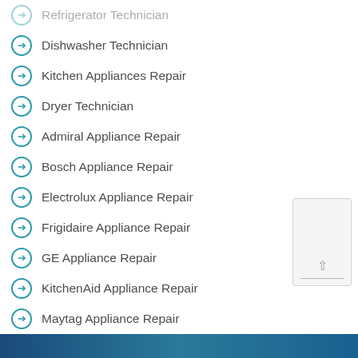Refrigerator Technician
Dishwasher Technician
Kitchen Appliances Repair
Dryer Technician
Admiral Appliance Repair
Bosch Appliance Repair
Electrolux Appliance Repair
Frigidaire Appliance Repair
GE Appliance Repair
KitchenAid Appliance Repair
Maytag Appliance Repair
Samsung Appliance Repair
Contact Us